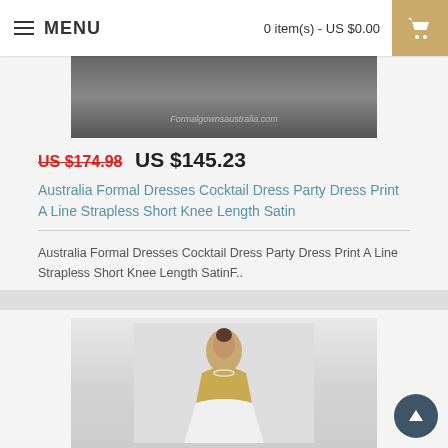MENU   0 item(s) - US $0.00
[Figure (photo): Product photo of a formal dress showing legs and heels on dark background with watermark 'Formalgownsaustralia.com']
US $174.98  US $145.23
Australia Formal Dresses Cocktail Dress Party Dress Print A Line Strapless Short Knee Length Satin
Australia Formal Dresses Cocktail Dress Party Dress Print A Line Strapless Short Knee Length SatinF..
♥ Add to Wish List   ↻ Add to Compare
[Figure (photo): Product photo of a woman wearing a gold sequin strapless ball gown formal dress, smiling, on light background]